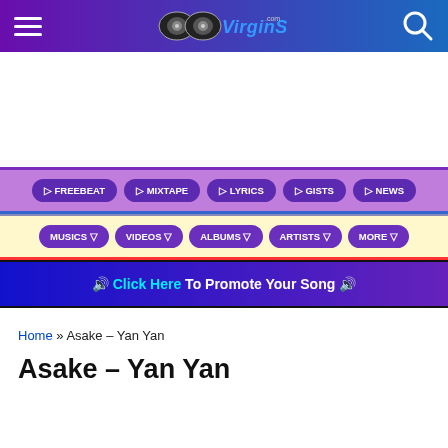VirginSound.com - Header navigation bar with logo, hamburger menu, and search icon
▷ FREEBEAT
▷ MIXTAPE
▷ LYRICS
▷ GISTS
▷ NEWS
MUSICS ▽
VIDEOS ▽
ALBUMS ▽
ARTISTS ▽
MORE ▽
🔊 Click Here To Promote Your Song 🔊
Home » Asake – Yan Yan
Asake – Yan Yan